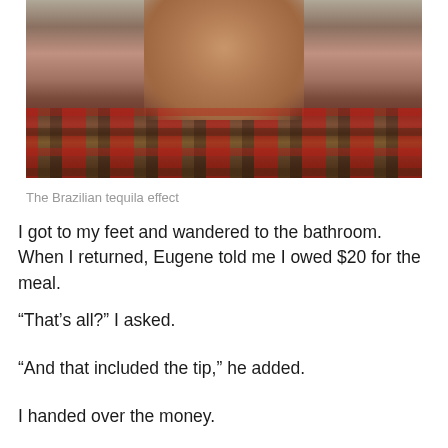[Figure (photo): Close-up photo of a man's neck and chin, wearing a red plaid flannel shirt, shot from below looking up]
The Brazilian tequila effect
I got to my feet and wandered to the bathroom. When I returned, Eugene told me I owed $20 for the meal.
“That’s all?” I asked.
“And that included the tip,” he added.
I handed over the money.